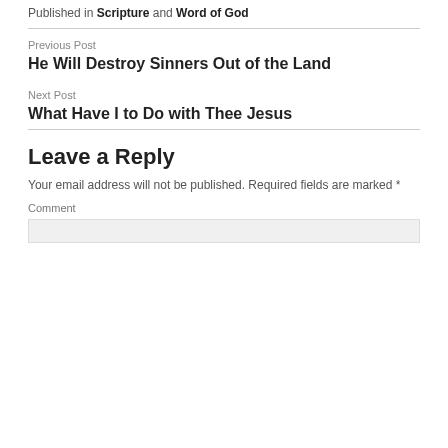Published in Scripture and Word of God
Previous Post
He Will Destroy Sinners Out of the Land
Next Post
What Have I to Do with Thee Jesus
Leave a Reply
Your email address will not be published. Required fields are marked *
Comment